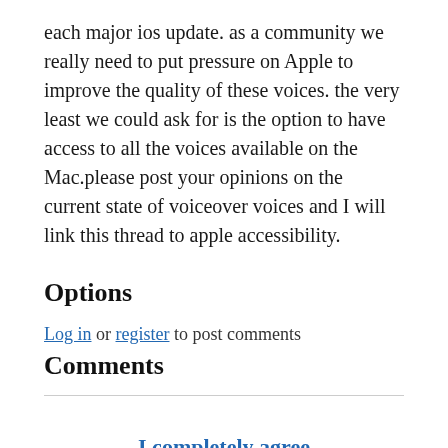each major ios update. as a community we really need to put pressure on Apple to improve the quality of these voices. the very least we could ask for is the option to have access to all the voices available on the Mac.please post your opinions on the current state of voiceover voices and I will link this thread to apple accessibility.
Options
Log in or register to post comments
Comments
I completely agree